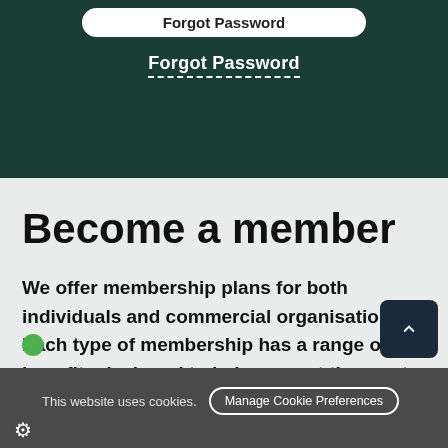[Figure (screenshot): White rounded button at top of dark green header area]
Forgot Password
Become a member
We offer membership plans for both individuals and commercial organisations. Each type of membership has a range of benefits designed to help you get the most out of being a part of The Parks Management Association.
This website uses cookies.  Manage Cookie Preferences